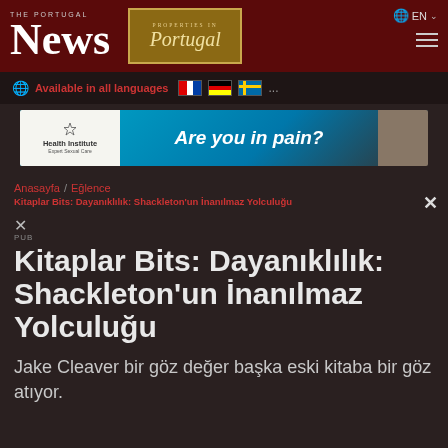The Portugal News | Properties in Portugal | EN
Available in all languages ...
[Figure (screenshot): Health Institute advertisement banner: Are you in pain?]
Anasayfa / Eğlence
Kitaplar Bits: Dayanıklılık: Shackleton'un İnanılmaz Yolculuğu
Kitaplar Bits: Dayanıklılık: Shackleton'un İnanılmaz Yolculuğu
Jake Cleaver bir göz değer başka eski kitaba bir göz atıyor.